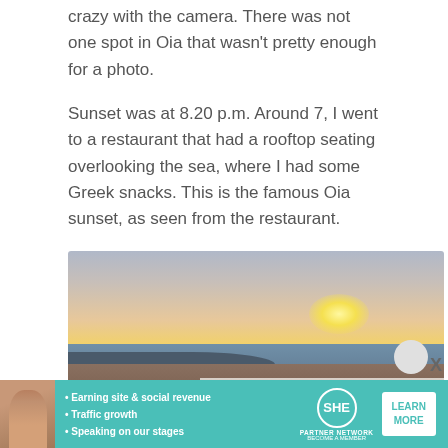crazy with the camera. There was not one spot in Oia that wasn't pretty enough for a photo.
Sunset was at 8.20 p.m. Around 7, I went to a restaurant that had a rooftop seating overlooking the sea, where I had some Greek snacks. This is the famous Oia sunset, as seen from the restaurant.
[Figure (photo): Panoramic photo of the famous Oia sunset in Santorini, Greece. White-washed buildings in the foreground, the Aegean Sea and volcanic caldera in the middle, with a warm golden sunset on the horizon.]
[Figure (infographic): SHE Media Partner Network advertisement banner with bullet points: Earning site & social revenue, Traffic growth, Speaking on our stages. Includes SHE logo, LEARN MORE button.]